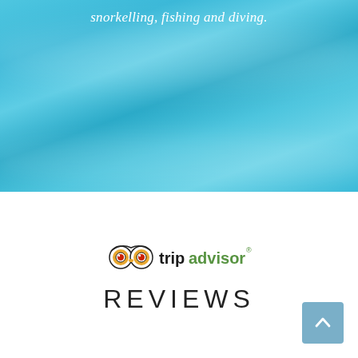[Figure (photo): Blue watercolour-style banner background with brushstroke texture]
snorkelling, fishing and diving.
[Figure (logo): TripAdvisor logo with owl eyes icon and tripadvisor text in green and black]
REVIEWS
[Figure (other): Back to top button — light blue rounded square with white upward chevron arrow]